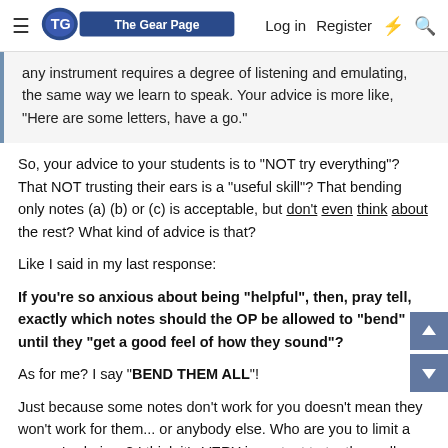The Gear Page — Log in | Register
any instrument requires a degree of listening and emulating, the same way we learn to speak. Your advice is more like, "Here are some letters, have a go."
So, your advice to your students is to "NOT try everything"? That NOT trusting their ears is a "useful skill"? That bending only notes (a) (b) or (c) is acceptable, but don't even think about the rest? What kind of advice is that?
Like I said in my last response:
If you're so anxious about being "helpful", then, pray tell, exactly which notes should the OP be allowed to "bend" until they "get a good feel of how they sound"?
As for me? I say "BEND THEM ALL"!
Just because some notes don't work for you doesn't mean they won't work for them... or anybody else. Who are you to limit a person's choices? I think it's VERY important to try them all. Then